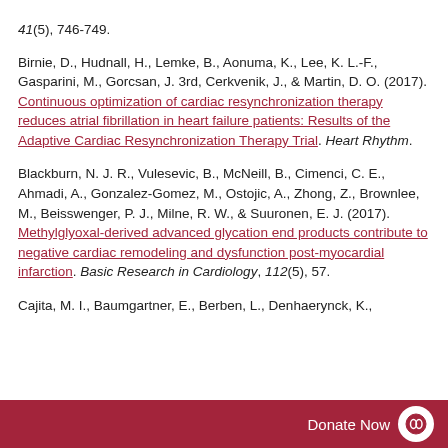41(5), 746-749.
Birnie, D., Hudnall, H., Lemke, B., Aonuma, K., Lee, K. L.-F., Gasparini, M., Gorcsan, J. 3rd, Cerkvenik, J., & Martin, D. O. (2017). Continuous optimization of cardiac resynchronization therapy reduces atrial fibrillation in heart failure patients: Results of the Adaptive Cardiac Resynchronization Therapy Trial. Heart Rhythm.
Blackburn, N. J. R., Vulesevic, B., McNeill, B., Cimenci, C. E., Ahmadi, A., Gonzalez-Gomez, M., Ostojic, A., Zhong, Z., Brownlee, M., Beisswenger, P. J., Milne, R. W., & Suuronen, E. J. (2017). Methylglyoxal-derived advanced glycation end products contribute to negative cardiac remodeling and dysfunction post-myocardial infarction. Basic Research in Cardiology, 112(5), 57.
Cajita, M. I., Baumgartner, E., Berben, L., Denhaerynck, K.,